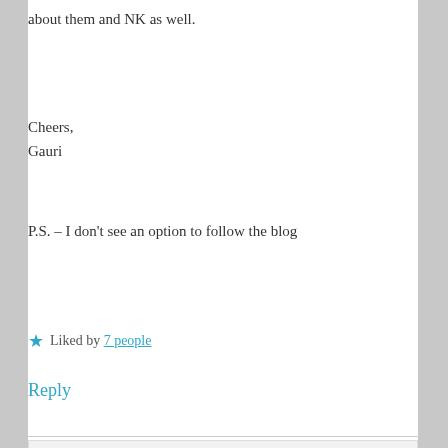about them and NK as well.
Cheers,
Gauri
P.S. – I don't see an option to follow the blog
★ Liked by 7 people
Reply
Privacy & Cookies: This site uses cookies. By continuing to use this website, you agree to their use.
To find out more, including how to control cookies, see here: Cookie Policy
Close and accept